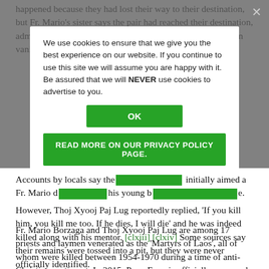happened because they had lost their way to their destination, but Fr. Mario's sister says the pair had reached their destination, administered the sick, brought them the sacraments, and then vanished on their return journey. [clxii]
[Figure (screenshot): Cookie consent overlay with modal containing text: 'We use cookies to ensure that we give you the best experience on our website. If you continue to use this site we will assume you are happy with it. Be assured that we will NEVER use cookies to advertise to you.' An 'OK' green button and a 'READ MORE ON OUR PRIVACY POLICY PAGE.' green button. A close X in top right.]
Accounts by locals say the gunman initially aimed a Fr. Mario died of his wounds shortly after, his young brother in faith managed to escape. However, Thoj Xyooj Paj Lug reportedly replied, 'If you kill him, you kill me too. If he dies, I will die' and he was indeed killed along with his mentor. [clxiii] [clxiv] Some sources say their remains were tossed into a pit, but they were never officially identified.
Fr. Mario Borzaga and Thoj Xyooj Paj Lug are among 17 priests and laymen venerated as the 'Martyrs of Laos', all of whom were killed between 1954-1970 during a time of anti-Christian sentiment. In 2015, Pope Francis officially approved their 'beatification' [clxv]with their beatification ceremony taking